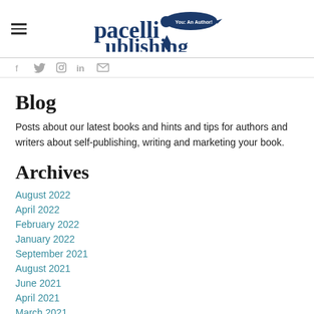Pacelli Publishing — You: An Author!
Blog
Posts about our latest books and hints and tips for authors and writers about self-publishing, writing and marketing your book.
Archives
August 2022
April 2022
February 2022
January 2022
September 2021
August 2021
June 2021
April 2021
March 2021